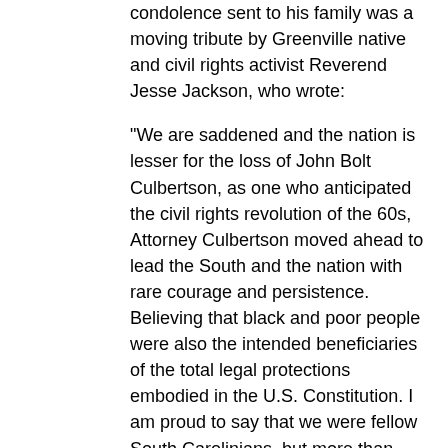condolence sent to his family was a moving tribute by Greenville native and civil rights activist Reverend Jesse Jackson, who wrote:
"We are saddened and the nation is lesser for the loss of John Bolt Culbertson, as one who anticipated the civil rights revolution of the 60s, Attorney Culbertson moved ahead to lead the South and the nation with rare courage and persistence. Believing that black and poor people were also the intended beneficiaries of the total legal protections embodied in the U.S. Constitution. I am proud to say that we were fellow South Carolinians, but more than this, that we were brothers and that his battle to reshape the American body politic that it might became and [sic] open republic with democratic rights to all of its citizens, touched and influenced my own pilgrimage to seek justice in this nation. He took the path less traveled heedless of danger or inconvenience. That is why in death as in life he represented the highest and best our world can offer."